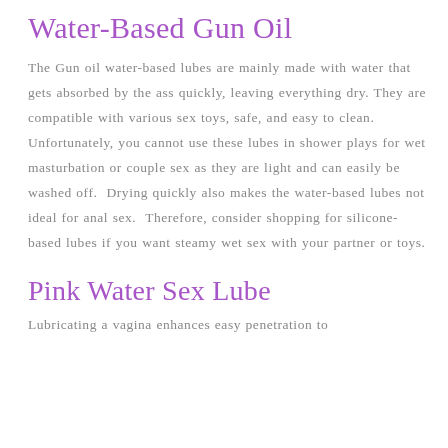Water-Based Gun Oil
The Gun oil water-based lubes are mainly made with water that gets absorbed by the ass quickly, leaving everything dry. They are compatible with various sex toys, safe, and easy to clean. Unfortunately, you cannot use these lubes in shower plays for wet masturbation or couple sex as they are light and can easily be washed off.  Drying quickly also makes the water-based lubes not ideal for anal sex.  Therefore, consider shopping for silicone-based lubes if you want steamy wet sex with your partner or toys.
Pink Water Sex Lube
Lubricating a vagina enhances easy penetration to